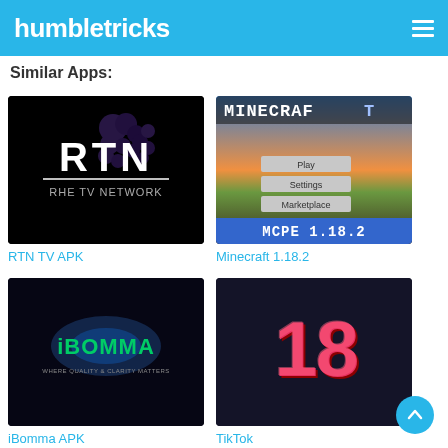humbletricks
Similar Apps:
[Figure (screenshot): RTN TV APK app thumbnail — black background with large white block letters RTN and subtitle RHE TV NETWORK with dot-matrix style graphic]
RTN TV APK
[Figure (screenshot): Minecraft 1.18.2 app thumbnail — game screenshot with MINECRAFT title, sunset background, menu buttons Play/Settings/Marketplace, and MCPE 1.18.2 text at bottom]
Minecraft 1.18.2
[Figure (screenshot): iBomma APK thumbnail — dark background with glowing iBOMMA logo and tagline WHERE QUALITY & CLARITY MATTERS]
iBomma APK
[Figure (screenshot): TikTok thumbnail — very dark background with large red/pink 3D numeral 18]
TikTok